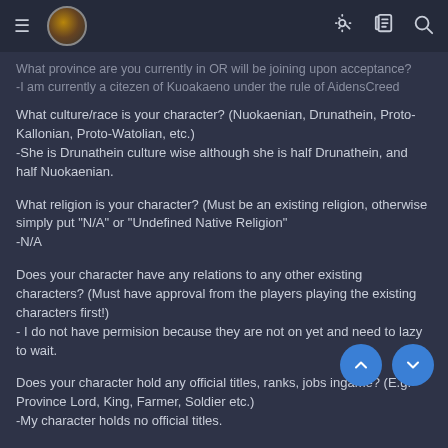Navigation header with menu, logo, and icons
What province are you currently in OR will be joining upon acceptance?
-I am currently a citezen of Kuoakaeno under the rule of AidensCreed
What culture/race is your character? (Nuokaenian, Drunathein, Proto-Kallonian, Proto-Watolian, etc.)
-She is Drunathein culture wise although she is half Drunathein, and half Nuokaenian.
What religion is your character? (Must be an existing religion, otherwise simply put "N/A" or "Undefined Native Religion"
-N/A
Does your character have any relations to any other existing characters? (Must have approval from the players playing the existing characters first!)
- I do not have permision because they are not on yet and need to lazy to wait.
Does your character hold any official titles, ranks, jobs ingame? (E.g. Province Lord, King, Farmer, Soldier etc.)
-My character holds no official titles.